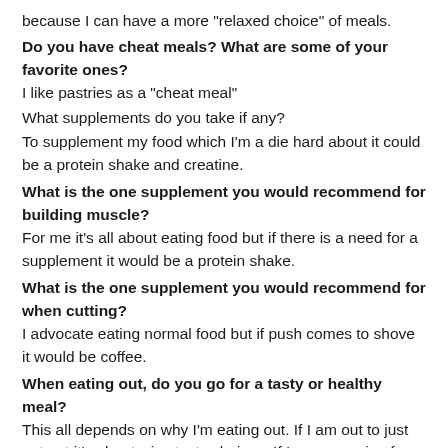because I can have a more "relaxed choice" of meals.
Do you have cheat meals? What are some of your favorite ones?
I like pastries as a "cheat meal"
What supplements do you take if any?
To supplement my food which I'm a die hard about it could be a protein shake and creatine.
What is the one supplement you would recommend for building muscle?
For me it's all about eating food but if there is a need for a supplement it would be a protein shake.
What is the one supplement you would recommend for when cutting?
I advocate eating normal food but if push comes to shove it would be coffee.
When eating out, do you go for a tasty or healthy meal?
This all depends on why I'm eating out. If I am out to just eat out it's about wise tasty choices. If I am preparing for